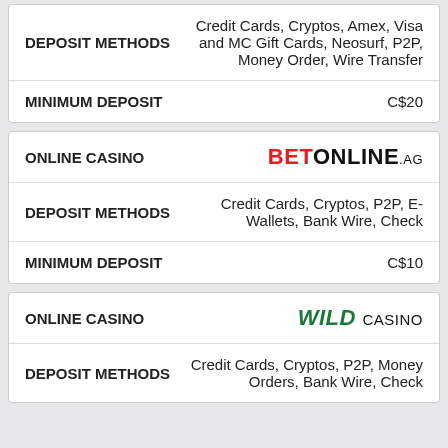| Field | Value |
| --- | --- |
| DEPOSIT METHODS | Credit Cards, Cryptos, Amex, Visa and MC Gift Cards, Neosurf, P2P, Money Order, Wire Transfer |
| MINIMUM DEPOSIT | C$20 |
| Field | Value |
| --- | --- |
| ONLINE CASINO | BETONLINE.AG |
| DEPOSIT METHODS | Credit Cards, Cryptos, P2P, E-Wallets, Bank Wire, Check |
| MINIMUM DEPOSIT | C$10 |
| Field | Value |
| --- | --- |
| ONLINE CASINO | WILD CASINO |
| DEPOSIT METHODS | Credit Cards, Cryptos, P2P, Money Orders, Bank Wire, Check |